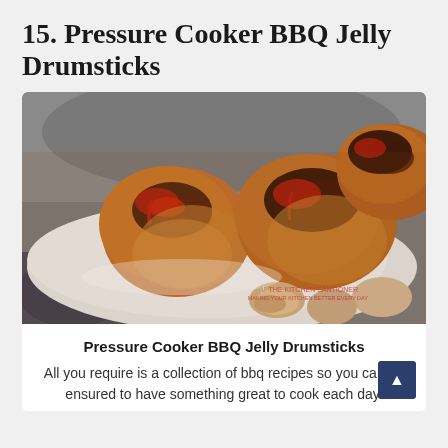15. Pressure Cooker BBQ Jelly Drumsticks
[Figure (photo): Close-up photo of BBQ glazed chicken drumsticks on a white plate, with caramelized dark sauce, showing three drumsticks with glistening brown and red glaze, on a marble surface background.]
Pressure Cooker BBQ Jelly Drumsticks
All you require is a collection of bbq recipes so you can be ensured to have something great to cook each day.